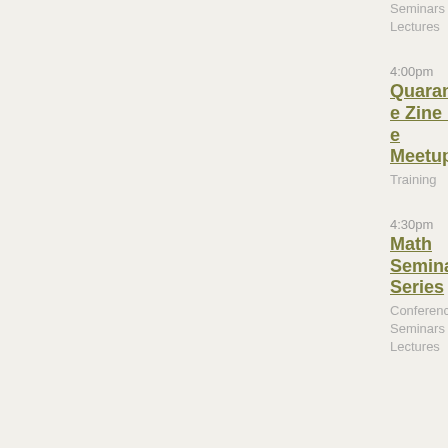Seminars / Lectures
4:00pm
Quarantine Zine Making Meetup
Training
4:30pm
Math Seminar Series
Conferences Seminars / Lectures